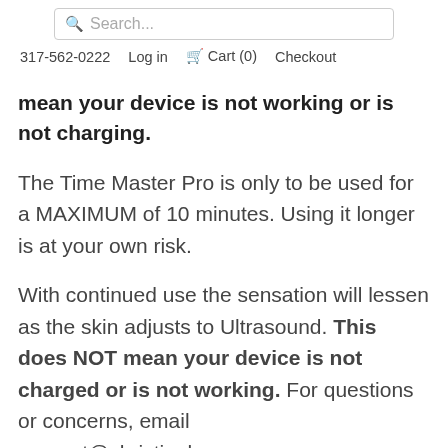Search... | 317-562-0222 | Log in | Cart (0) | Checkout
mean your device is not working or is not charging.
The Time Master Pro is only to be used for a MAXIMUM of 10 minutes. Using it longer is at your own risk.
With continued use the sensation will lessen as the skin adjusts to Ultrasound. This does NOT mean your device is not charged or is not working. For questions or concerns, email support@christinebyer.com
HOW TO REPLACE THE